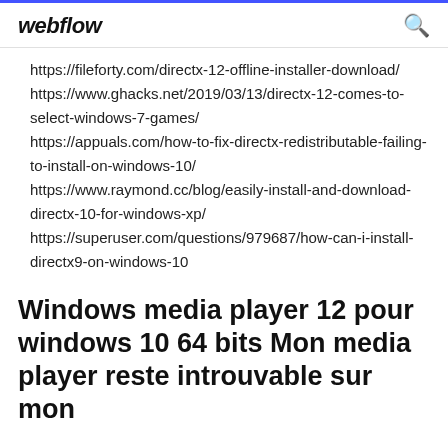webflow
https://fileforty.com/directx-12-offline-installer-download/
https://www.ghacks.net/2019/03/13/directx-12-comes-to-select-windows-7-games/
https://appuals.com/how-to-fix-directx-redistributable-failing-to-install-on-windows-10/
https://www.raymond.cc/blog/easily-install-and-download-directx-10-for-windows-xp/
https://superuser.com/questions/979687/how-can-i-install-directx9-on-windows-10
Windows media player 12 pour windows 10 64 bits Mon media player reste introuvable sur mon